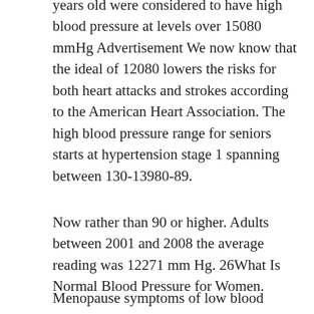years old were considered to have high blood pressure at levels over 15080 mmHg Advertisement We now know that the ideal of 12080 lowers the risks for both heart attacks and strokes according to the American Heart Association. The high blood pressure range for seniors starts at hypertension stage 1 spanning between 130-13980-89.
Now rather than 90 or higher. Adults between 2001 and 2008 the average reading was 12271 mm Hg. 26What Is Normal Blood Pressure for Women.
Menopause symptoms of low blood pressure